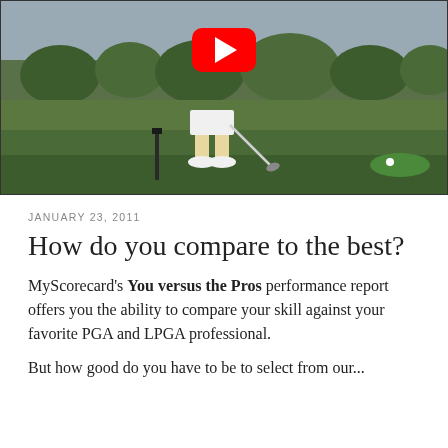[Figure (screenshot): A YouTube video thumbnail showing a golfer on a golf course fairway with a club, trees in background. A red YouTube play button is overlaid at the top center of the image.]
JANUARY 23, 2011
How do you compare to the best?
MyScorecard's You versus the Pros performance report offers you the ability to compare your skill against your favorite PGA and LPGA professional.
But how good do you have to be to select from our...